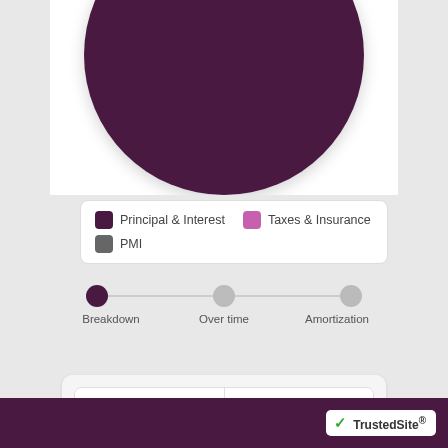[Figure (pie-chart): Donut/pie chart showing mortgage payment breakdown — predominantly dark purple (Principal & Interest) segment, cropped at top of view]
Principal & Interest   Taxes & Insurance   PMI
[Figure (infographic): Three-step horizontal step indicator with dots connected by a line. Steps: Breakdown (active, dark purple), Over time (inactive, gray), Amortization (inactive, gray)]
BASIC   ADVANCED
Purchase price
TrustedSite